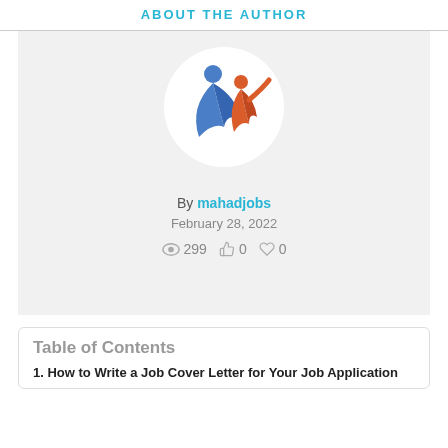ABOUT THE AUTHOR
[Figure (logo): Mahadjobs logo: circular white background with two abstract human figures, one blue and one orange/red, raising arms]
By mahadjobs
February 28, 2022
299   0   0
Table of Contents
1. How to Write a Job Cover Letter for Your Job Application